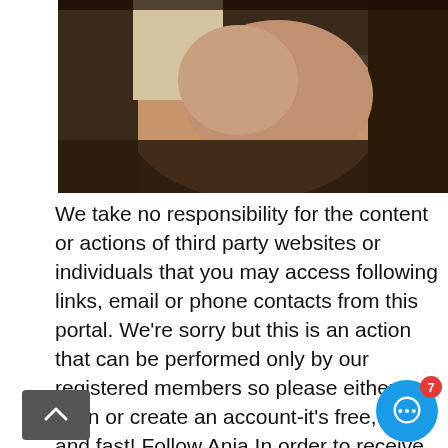[Figure (photo): Partial photo of a person wearing dark clothing, cropped torso/shoulder view against a light background]
We take no responsibility for the content or actions of third party websites or individuals that you may access following links, email or phone contacts from this portal. We're sorry but this is an action that can be performed only by our registered members so please either login or create an account-it's free, easy and fast! Follow Anja In order to receive e-mail notifications when she makes a change, please choose one of the options below:. You will receive email notifications when she makes updates. What you receive can be modified in your account settings. You can log into an existing account to follow her or use your email address to do so. Go to Advanced Search. Advanced search. All escorts Age escorts Independent escorts. Height from None se cm 4' 9" cm 5' 1" cm 5' 5" cm 5' 9" cm 6' 1" cm 6' 5" cm